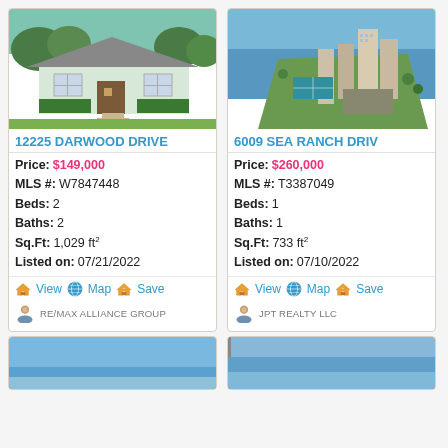[Figure (photo): Exterior photo of a single-story white house with gray roof and green hedges, lawn in front]
12225 DARWOOD DRIVE
Price: $149,000
MLS #: W7847448
Beds: 2
Baths: 2
Sq.Ft: 1,029 ft²
Listed on: 07/21/2022
View Map Save
RE/MAX ALLIANCE GROUP
[Figure (photo): Aerial photo of a coastal condominium complex with tall buildings near the water, tennis courts visible]
6009 SEA RANCH DRIV
Price: $260,000
MLS #: T3387049
Beds: 1
Baths: 1
Sq.Ft: 733 ft²
Listed on: 07/10/2022
View Map Save
JPT REALTY LLC
[Figure (photo): Partial view of a blue sky and possibly a pool or water]
[Figure (photo): Partial view of a blue sky and water]